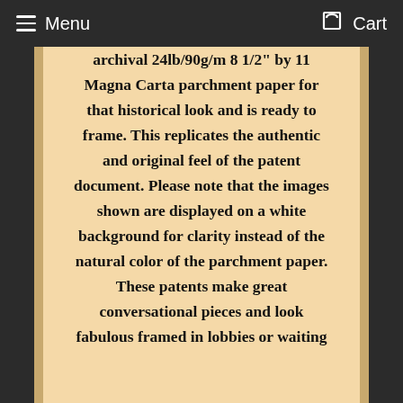Menu  Cart
archival 24lb/90g/m 8 1/2" by 11 Magna Carta parchment paper for that historical look and is ready to frame. This replicates the authentic and original feel of the patent document. Please note that the images shown are displayed on a white background for clarity instead of the natural color of the parchment paper. These patents make great conversational pieces and look fabulous framed in lobbies or waiting